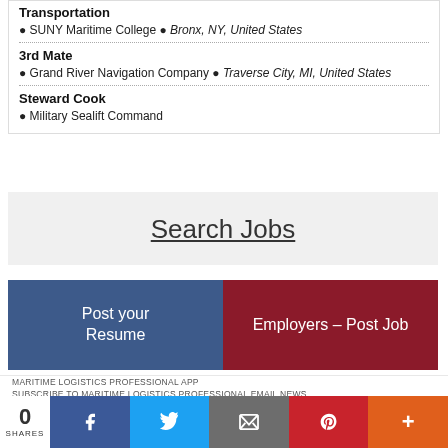Transportation
● SUNY Maritime College ● Bronx, NY, United States
3rd Mate
● Grand River Navigation Company ● Traverse City, MI, United States
Steward Cook
● Military Sealift Command
Search Jobs
Post your Resume
Employers – Post Job
MARITIME LOGISTICS PROFESSIONAL APP
SUBSCRIBE TO MARITIME LOGISTICS PROFESSIONAL EMAIL NEWS
TERMS AND CONDITIONS
COPYRIGHT
0 SHARES